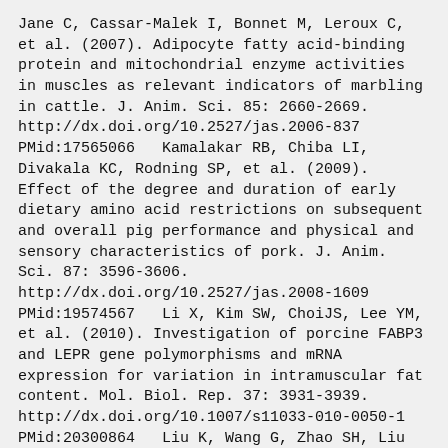Jane C, Cassar-Malek I, Bonnet M, Leroux C, et al. (2007). Adipocyte fatty acid-binding protein and mitochondrial enzyme activities in muscles as relevant indicators of marbling in cattle. J. Anim. Sci. 85: 2660-2669. http://dx.doi.org/10.2527/jas.2006-837 PMid:17565066   Kamalakar RB, Chiba LI, Divakala KC, Rodning SP, et al. (2009). Effect of the degree and duration of early dietary amino acid restrictions on subsequent and overall pig performance and physical and sensory characteristics of pork. J. Anim. Sci. 87: 3596-3606. http://dx.doi.org/10.2527/jas.2008-1609 PMid:19574567   Li X, Kim SW, ChoiJS, Lee YM, et al. (2010). Investigation of porcine FABP3 and LEPR gene polymorphisms and mRNA expression for variation in intramuscular fat content. Mol. Biol. Rep. 37: 3931-3939. http://dx.doi.org/10.1007/s11033-010-0050-1 PMid:20300864   Liu K, Wang G, Zhao SH, Liu B, et al. (2010). Molecular characterization, chromosomal location, alternative splicing and polymorphism of porcine GFAT1 gene. Mol. Biol.